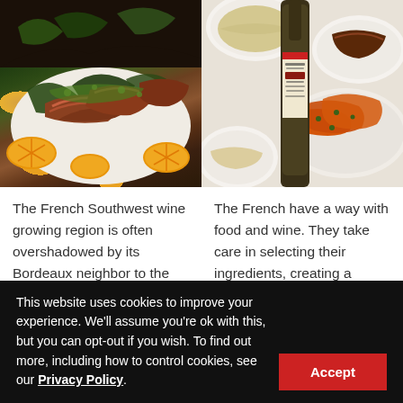[Figure (photo): Grilled/sliced meat dish with green herb sauce and orange slices on a white plate]
[Figure (photo): Wine bottle (Chateau des Jacques Moulin-a-Vent) with roasted carrots and other dishes on a table]
The French Southwest wine growing region is often overshadowed by its Bordeaux neighbor to the north. If you are a fan of Bordeaux wines but
The French have a way with food and wine. They take care in selecting their ingredients, creating a menu, and preparing the dishes. This French way
This website uses cookies to improve your experience. We'll assume you're ok with this, but you can opt-out if you wish. To find out more, including how to control cookies, see our Privacy Policy.